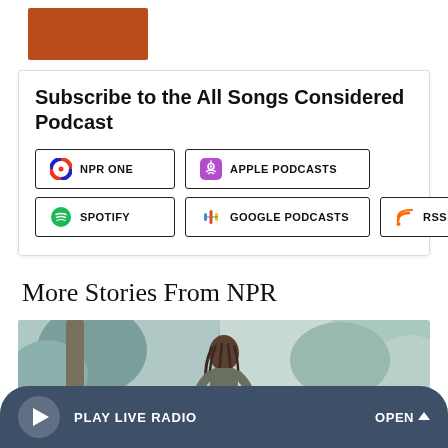[Figure (illustration): Reddish-brown rectangle representing a podcast logo/thumbnail cropped at top]
Subscribe to the All Songs Considered Podcast
[Figure (infographic): Podcast subscription buttons: NPR ONE, APPLE PODCASTS, SPOTIFY, GOOGLE PODCASTS, RSS]
More Stories From NPR
[Figure (photo): Outdoor photo of a person with dreadlocks standing near trees]
PLAY LIVE RADIO
OPEN